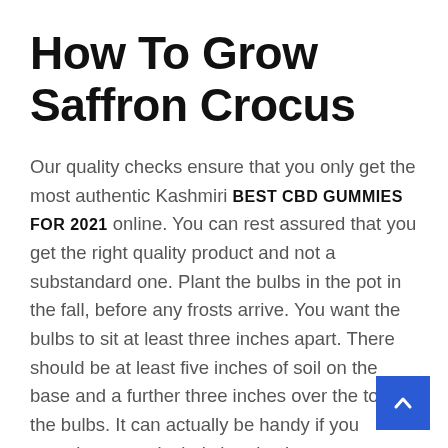How To Grow Saffron Crocus
Our quality checks ensure that you only get the most authentic Kashmiri BEST CBD GUMMIES FOR 2021 online. You can rest assured that you get the right quality product and not a substandard one. Plant the bulbs in the pot in the fall, before any frosts arrive. You want the bulbs to sit at least three inches apart. There should be at least five inches of soil on the base and a further three inches over the top of the bulbs. It can actually be handy if you experience particularly harsh winters.
It was demonstrated that saffron and crocin can prevent oxidative stress in the hippocampus and avoid deficits in